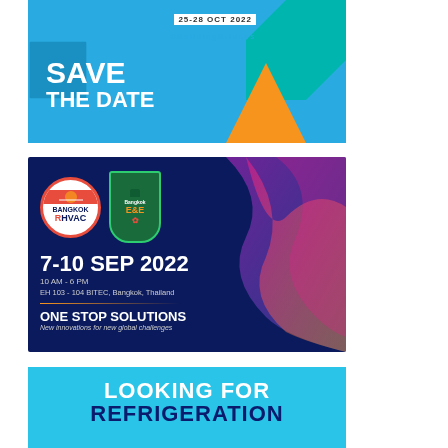[Figure (infographic): Save The Date promotional banner: blue background with geometric shapes in teal and orange. Shows date 25-28 OCT 2022, hashtag #BuildingBridges, and large text SAVE THE DATE in white.]
[Figure (infographic): Bangkok RHVAC and Bangkok E&E exhibition banner on dark navy background with colorful wave design. Shows 7-10 SEP 2022, 10 AM - 6 PM, EH 103 - 104 BITEC, Bangkok, Thailand. ONE STOP SOLUTIONS - New innovations for new global challenges.]
[Figure (infographic): LOOKING FOR REFRIGERATION promotional banner on bright blue background with white and dark blue text.]